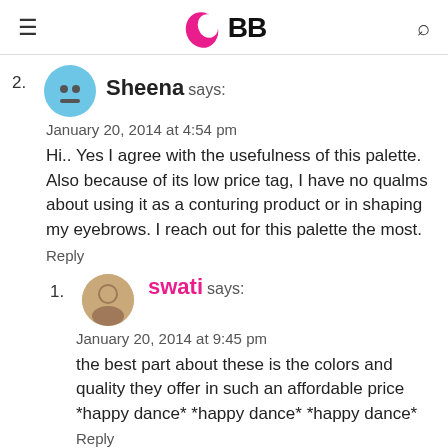IMBB
2. Sheena says:
January 20, 2014 at 4:54 pm
Hi.. Yes I agree with the usefulness of this palette. Also because of its low price tag, I have no qualms about using it as a conturing product or in shaping my eyebrows. I reach out for this palette the most.
Reply
1. swati says:
January 20, 2014 at 9:45 pm
the best part about these is the colors and quality they offer in such an affordable price *happy dance* *happy dance* *happy dance*
Reply